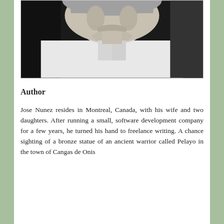[Figure (photo): Black and white headshot photograph of a middle-aged man smiling, wearing a white shirt with an open collar, cropped at chest level.]
Author
Jose Nunez resides in Montreal, Canada, with his wife and two daughters. After running a small, software development company for a few years, he turned his hand to freelance writing. A chance sighting of a bronze statue of an ancient warrior called Pelayo in the town of Cangas de Onis...